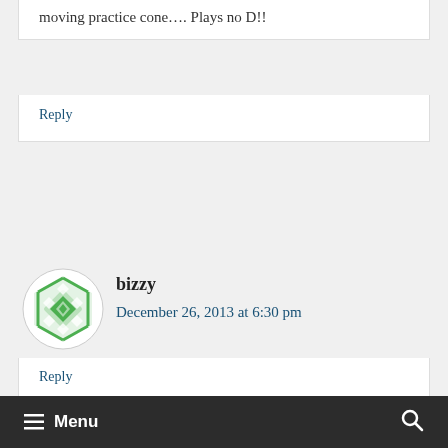moving practice cone…. Plays no D!!
Reply
[Figure (illustration): Green geometric avatar icon with diamond/square pattern for user bizzy]
bizzy
December 26, 2013 at 6:30 pm
Training with Athletics performance in Arizona
Reply
≡ Menu  🔍